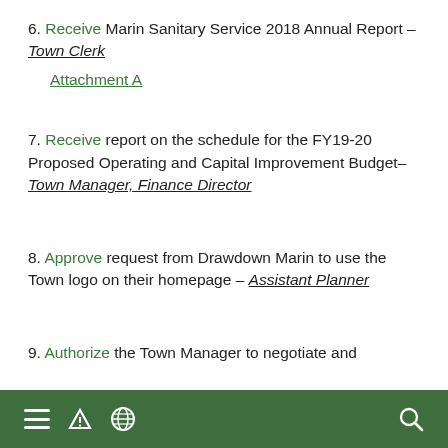6. Receive Marin Sanitary Service 2018 Annual Report – Town Clerk
Attachment A
7. Receive report on the schedule for the FY19-20 Proposed Operating and Capital Improvement Budget– Town Manager, Finance Director
8. Approve request from Drawdown Marin to use the Town logo on their homepage – Assistant Planner
9. Authorize the Town Manager to negotiate and
≡ ▲ 🌐 🔍